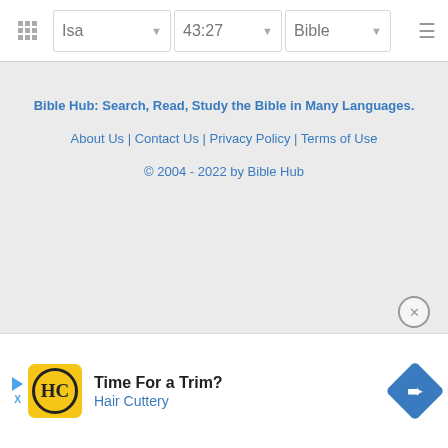Isa  43:27  Bible
Bible Hub: Search, Read, Study the Bible in Many Languages.
About Us | Contact Us | Privacy Policy | Terms of Use
© 2004 - 2022 by Bible Hub
[Figure (screenshot): Advertisement banner for Hair Cuttery showing logo, 'Time For a Trim?' text, and navigation arrow icon]